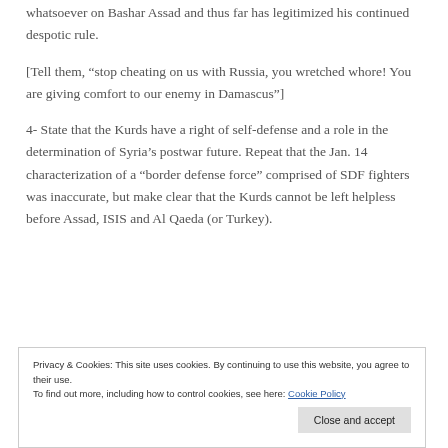whatsoever on Bashar Assad and thus far has legitimized his continued despotic rule.
[Tell them, “stop cheating on us with Russia, you wretched whore! You are giving comfort to our enemy in Damascus”]
4- State that the Kurds have a right of self-defense and a role in the determination of Syria’s postwar future. Repeat that the Jan. 14 characterization of a “border defense force” comprised of SDF fighters was inaccurate, but make clear that the Kurds cannot be left helpless before Assad, ISIS and Al Qaeda (or Turkey).
Privacy & Cookies: This site uses cookies. By continuing to use this website, you agree to their use. To find out more, including how to control cookies, see here: Cookie Policy